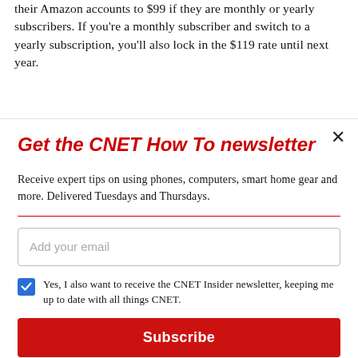...their Amazon accounts to $99 if they are monthly or yearly subscribers. If you're a monthly subscriber and switch to a yearly subscription, you'll also lock in the $119 rate until next year.
Get the CNET How To newsletter
Receive expert tips on using phones, computers, smart home gear and more. Delivered Tuesdays and Thursdays.
Add your email
Yes, I also want to receive the CNET Insider newsletter, keeping me up to date with all things CNET.
Subscribe
By signing up, you agree to our Terms of Use and acknowledge the data practices in our Privacy Policy. You may unsubscribe at any time.